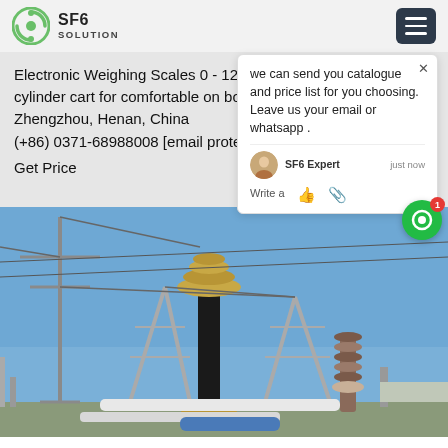SF6 SOLUTION
Electronic Weighing Scales 0 - 120 kg Refilling device as cylinder cart for comfortable on board High-new Tech Zone Zhengzhou, Henan, China (+86) 0371-68988008 [email protected]
Get Price
we can send you catalogue and price list for you choosing. Leave us your email or whatsapp . SF6 Expert  just now  Write a
[Figure (photo): Outdoor high-voltage electrical substation with insulators, circuit breakers, and transmission line structures against a blue sky]